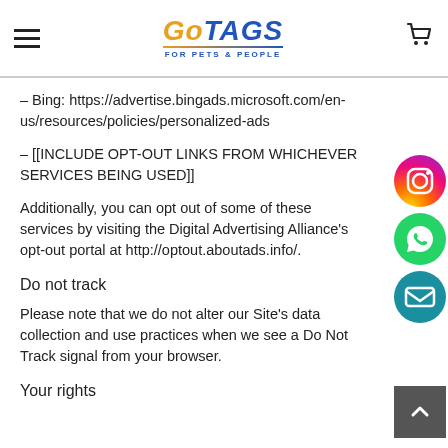GoTAGS FOR PETS & PEOPLE
– Bing: https://advertise.bingads.microsoft.com/en-us/resources/policies/personalized-ads
– [[INCLUDE OPT-OUT LINKS FROM WHICHEVER SERVICES BEING USED]]
Additionally, you can opt out of some of these services by visiting the Digital Advertising Alliance's opt-out portal at http://optout.aboutads.info/.
Do not track
Please note that we do not alter our Site's data collection and use practices when we see a Do Not Track signal from your browser.
Your rights